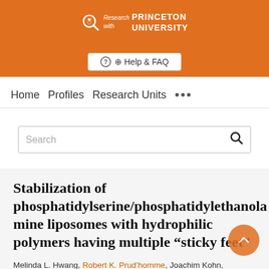Research with Princeton University
Help & FAQ
Home   Profiles   Research Units   ...
Search
Stabilization of phosphatidylserine/phosphatidylethanolamine liposomes with hydrophilic polymers having multiple "sticky feet"
Melinda L. Hwang, Robert K. Prud'homme, Joachim Kohn, ...